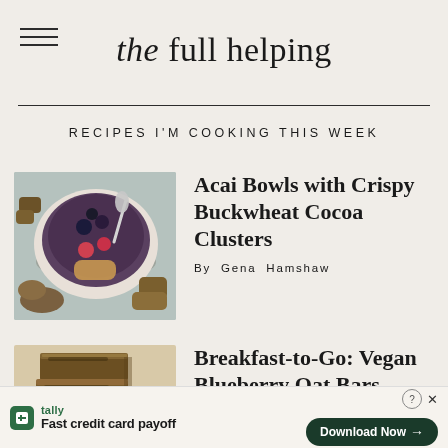the full helping
RECIPES I'M COOKING THIS WEEK
[Figure (photo): Overhead view of an acai bowl topped with berries and buckwheat cocoa clusters on a light gray surface with granola scattered around]
Acai Bowls with Crispy Buckwheat Cocoa Clusters
By Gena Hamshaw
[Figure (photo): Stack of vegan blueberry oat bars on a light background, showing layered oat texture with blueberry filling]
Breakfast-to-Go: Vegan Blueberry Oat Bars
tally Fast credit card payoff Download Now →